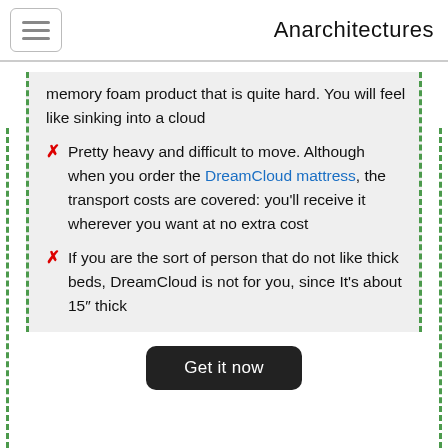Anarchitectures
memory foam product that is quite hard. You will feel like sinking into a cloud
Pretty heavy and difficult to move. Although when you order the DreamCloud mattress, the transport costs are covered: you'll receive it wherever you want at no extra cost
If you are the sort of person that do not like thick beds, DreamCloud is not for you, since It's about 15″ thick